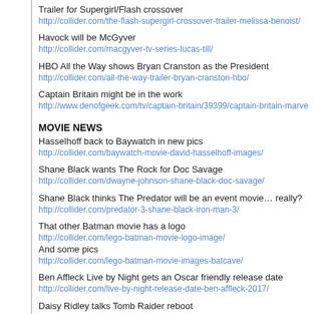Trailer for Supergirl/Flash crossover
http://collider.com/the-flash-supergirl-crossover-trailer-melissa-benoist/
Havock will be McGyver
http://collider.com/macgyver-tv-series-lucas-till/
HBO All the Way shows Bryan Cranston as the President
http://collider.com/all-the-way-trailer-bryan-cranston-hbo/
Captain Britain might be in the work
http://www.denofgeek.com/tv/captain-britain/39399/captain-britain-marvel-s-uk-superhe
MOVIE NEWS
Hasselhoff back to Baywatch in new pics
http://collider.com/baywatch-movie-david-hasselhoff-images/
Shane Black wants The Rock for Doc Savage
http://collider.com/dwayne-johnson-shane-black-doc-savage/
Shane Black thinks The Predator will be an event movie… really?
http://collider.com/predator-3-shane-black-iron-man-3/
That other Batman movie has a logo
http://collider.com/lego-batman-movie-logo-image/
And some pics
http://collider.com/lego-batman-movie-images-batcave/
Ben Affleck Live by Night gets an Oscar friendly release date
http://collider.com/live-by-night-release-date-ben-affleck-2017/
Daisy Ridley talks Tomb Raider reboot
http://collider.com/daisy-ridley-tomb-raider-reboot-lara-croft/
David Koepp is writing Indiana 5… wait he is credited for 4!!!
http://collider.com/indiana-jones-5-writer-david-koepp/